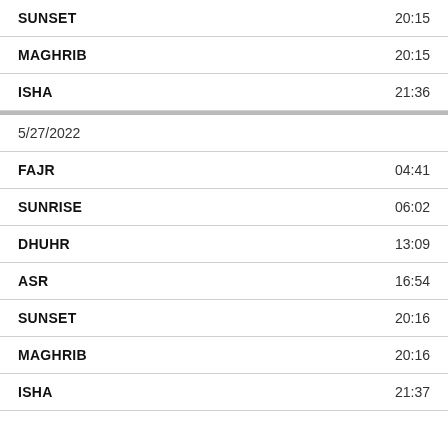| Prayer | Time |
| --- | --- |
| SUNSET | 20:15 |
| MAGHRIB | 20:15 |
| ISHA | 21:36 |
5/27/2022
| Prayer | Time |
| --- | --- |
| FAJR | 04:41 |
| SUNRISE | 06:02 |
| DHUHR | 13:09 |
| ASR | 16:54 |
| SUNSET | 20:16 |
| MAGHRIB | 20:16 |
| ISHA | 21:37 |